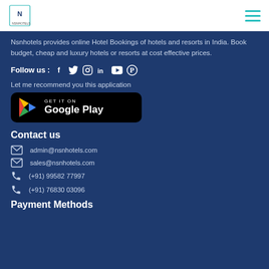NSN Hotels logo and navigation menu
Nsnhotels provides online Hotel Bookings of hotels and resorts in India. Book budget, cheap and luxury hotels or resorts at cost effective prices.
Follow us : [Facebook] [Twitter] [Instagram] [LinkedIn] [YouTube] [Pinterest]
Let me recommend you this application
[Figure (logo): Google Play store badge button with Play triangle icon and text GET IT ON Google Play on black rounded rectangle]
Contact us
admin@nsnhotels.com
sales@nsnhotels.com
(+91) 99582 77997
(+91) 76830 03096
Payment Methods